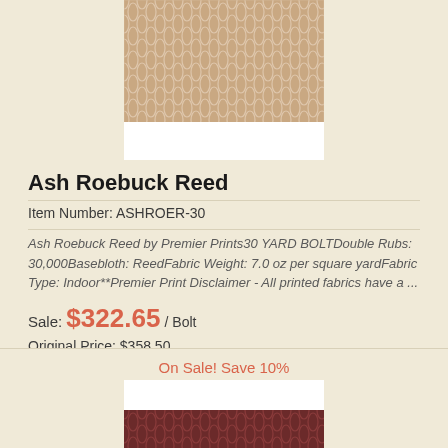[Figure (photo): Fabric swatch showing tan/beige diamond pattern (Ash Roebuck Reed) on a cream background, with white label area below pattern]
Ash Roebuck Reed
Item Number: ASHROER-30
Ash Roebuck Reed by Premier Prints30 YARD BOLTDouble Rubs: 30,000Basebloth: ReedFabric Weight: 7.0 oz per square yardFabric Type: Indoor**Premier Print Disclaimer - All printed fabrics have a ...
Sale: $322.65 / Bolt
Original Price: $358.50
You Save: $35.85
On Sale! Save 10%
[Figure (photo): Fabric swatch showing dark burgundy/brown diamond pattern with white label area above]